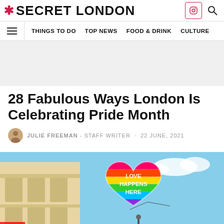* SECRET LONDON
≡  THINGS TO DO  TOP NEWS  FOOD & DRINK  CULTURE
[Figure (other): Grey advertisement banner placeholder]
28 Fabulous Ways London Is Celebrating Pride Month
JULIE FREEMAN - STAFF WRITER · 22 JUNE, 2021
[Figure (photo): Outdoor photo showing a rainbow heart balloon with text 'LOVE HAPPENS HERE' floating above a street with a classical building facade, blue sky background]